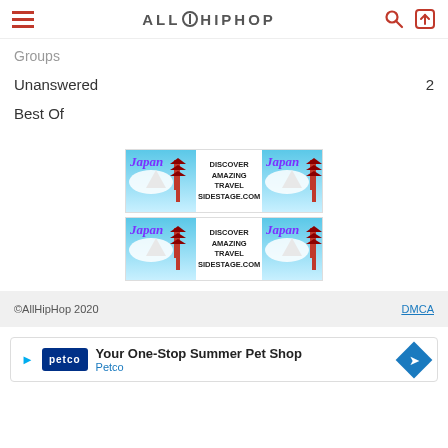AllHipHop
Groups
Unanswered  2
Best Of
[Figure (infographic): Two Japan travel advertisement banners (top row), showing Japan pagoda/mountain image on left and right, with 'DISCOVER AMAZING TRAVEL SIDESTAGE.COM' text in center]
[Figure (infographic): Two Japan travel advertisement banners (bottom row), same as top row]
©AllHipHop 2020   DMCA
[Figure (infographic): Petco ad: Your One-Stop Summer Pet Shop, Petco]